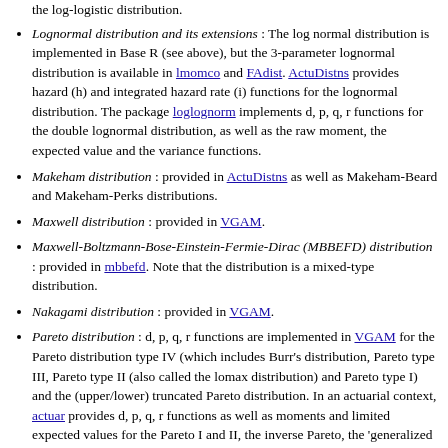the log-logistic distribution.
Lognormal distribution and its extensions : The log normal distribution is implemented in Base R (see above), but the 3-parameter lognormal distribution is available in lmomco and FAdist. ActuDistns provides hazard (h) and integrated hazard rate (i) functions for the lognormal distribution. The package loglognorm implements d, p, q, r functions for the double lognormal distribution, as well as the raw moment, the expected value and the variance functions.
Makeham distribution : provided in ActuDistns as well as Makeham-Beard and Makeham-Perks distributions.
Maxwell distribution : provided in VGAM.
Maxwell-Boltzmann-Bose-Einstein-Fermie-Dirac (MBBEFD) distribution : provided in mbbefd. Note that the distribution is a mixed-type distribution.
Nakagami distribution : provided in VGAM.
Pareto distribution : d, p, q, r functions are implemented in VGAM for the Pareto distribution type IV (which includes Burr's distribution, Pareto type III, Pareto type II (also called the lomax distribution) and Pareto type I) and the (upper/lower) truncated Pareto distribution. In an actuarial context, actuar provides d, p, q, r functions as well as moments and limited expected values for the Pareto I and II, the inverse Pareto, the 'generalized pareto' distributions, the Burr and the inverse Burr distributions. A fast random